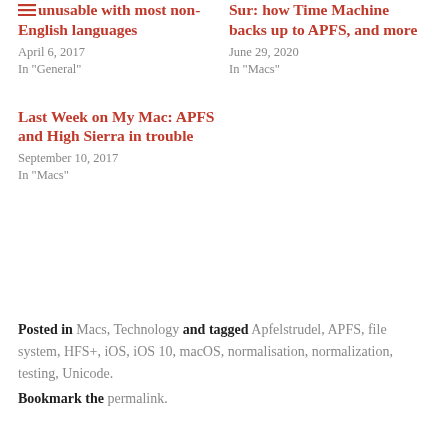unusable with most non-English languages
April 6, 2017
In "General"
Sur: how Time Machine backs up to APFS, and more
June 29, 2020
In "Macs"
Last Week on My Mac: APFS and High Sierra in trouble
September 10, 2017
In "Macs"
Posted in Macs, Technology and tagged Apfelstrudel, APFS, file system, HFS+, iOS, iOS 10, macOS, normalisation, normalization, testing, Unicode. Bookmark the permalink.